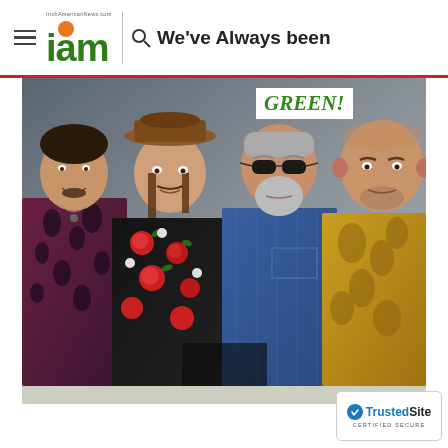IrishAmericanNews.com logo with hamburger menu, search icon, and text: We've Always been GREEN!
[Figure (photo): Four band members posing together. From left: man in patterned dark red/blue shirt with goatee, man in center-left wearing brown fedora and floral black shirt with roses, older man in denim jacket wearing sunglasses, and man on right in gold patterned shirt. 'GREEN!' overlay text visible in white box on photo.]
TrustedSite CERTIFIED SECURE